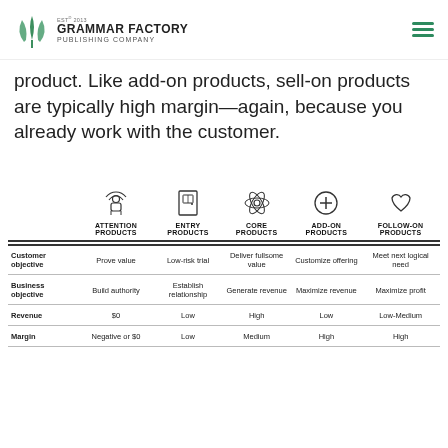Grammar Factory Publishing Company
product. Like add-on products, sell-on products are typically high margin—again, because you already work with the customer.
|  | ATTENTION PRODUCTS | ENTRY PRODUCTS | CORE PRODUCTS | ADD-ON PRODUCTS | FOLLOW-ON PRODUCTS |
| --- | --- | --- | --- | --- | --- |
| Customer objective | Prove value | Low-risk trial | Deliver fullsome value | Customize offering | Meet next logical need |
| Business objective | Build authority | Establish relationship | Generate revenue | Maximize revenue | Maximize profit |
| Revenue | $0 | Low | High | Low | Low-Medium |
| Margin | Negative or $0 | Low | Medium | High | High |